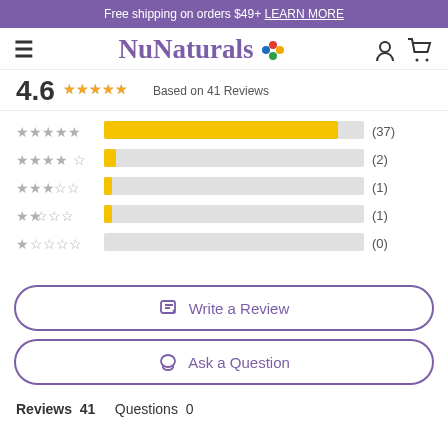Free shipping on orders $49+ LEARN MORE
[Figure (logo): NuNaturals logo with colorful leaf icon]
4.6 ★★★★★ Based on 41 Reviews
[Figure (bar-chart): Rating distribution]
Write a Review
Ask a Question
Reviews 41   Questions 0